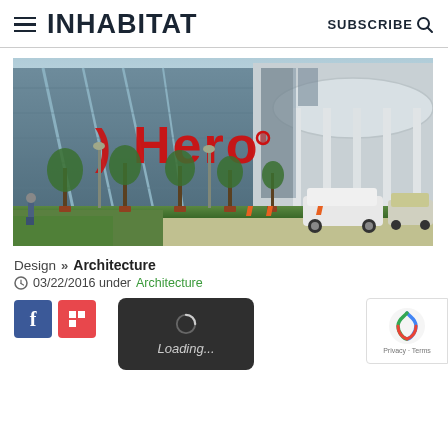INHABITAT  SUBSCRIBE
[Figure (photo): Exterior photo of Hero MotoCorp corporate office/headquarters building with large red Hero logo on glass facade, palm trees, parked cars, and people in foreground]
Design >> Architecture
03/22/2016 under Architecture
[Figure (other): Social share buttons (Facebook blue and Flipboard red), a dark loading overlay with spinner and 'Loading...' text, and a reCAPTCHA badge with Privacy and Terms links]